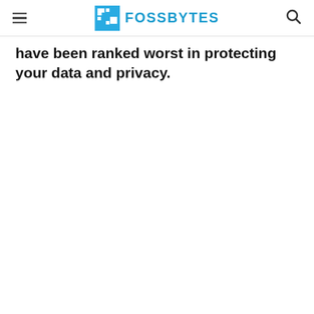FOSSBYTES
have been ranked worst in protecting your data and privacy.